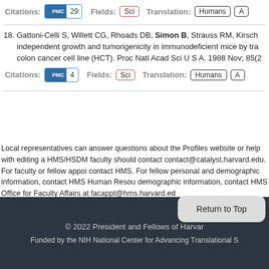Citations: PMC 29   Fields: Sci   Translation: Humans A
18. Gattoni-Celli S, Willett CG, Rhoads DB, Simon B, Strauss RM, Kirsch… independent growth and tumorigenicity in immunodeficient mice by tra… colon cancer cell line (HCT). Proc Natl Acad Sci U S A. 1988 Nov; 85(2…
Citations: PMC 4   Fields: Sci   Translation: Humans A
Local representatives can answer questions about the Profiles website or help with editing a… HMS/HSDM faculty should contact contact@catalyst.harvard.edu. For faculty or fellow appoi… contact HMS. For fellow personal and demographic information, contact HMS Human Resou… demographic information, contact HMS Office for Faculty Affairs at facappt@hms.harvard.ed…
© 2022 President and Fellows of Harvar…   Return to Top   Funded by the NIH National Center for Advancing Translational S…